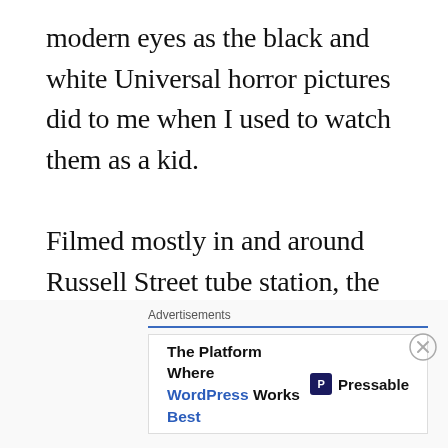modern eyes as the black and white Universal horror pictures did to me when I used to watch them as a kid.

Filmed mostly in and around Russell Street tube station, the film's story centres on several mysterious disappearances that have occurred between that station and Holborn on London's District line. While indulging in extra curricular activities in the red light district, top ranking civil servant James Manfred OBE(James Cossins)
[Figure (other): Advertisement banner: 'Advertisements' label with blue rule, white box containing 'The Platform Where WordPress Works Best' text in bold/blue and Pressable logo on right. Close button (X circle) in top right of ad area.]